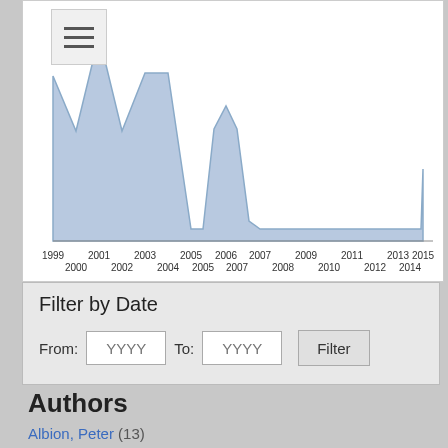[Figure (area-chart): Area chart showing publication counts from 1999 to 2015. Peak around 1999-2001, another peak around 2003-2004, smaller peaks around 2006-2007 and 2015.]
Filter by Date
From: YYYY  To: YYYY  Filter
Authors
Albion, Peter (13)
Redmond, Petrea (3)
Albion, Peter R. (2)
Albion, Peter R (1)
Alexander, Louise (1)
Gibson, Ian W. (1)
Kist, Alexander (1)
Lloyd, Margaret (1)